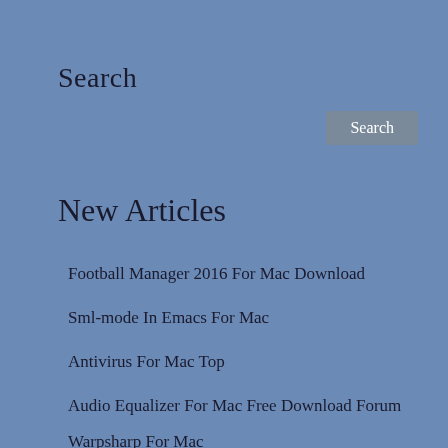Search
[Figure (other): Search button with grey background]
New Articles
Football Manager 2016 For Mac Download
Sml-mode In Emacs For Mac
Antivirus For Mac Top
Audio Equalizer For Mac Free Download Forum
Warpsharp For Mac